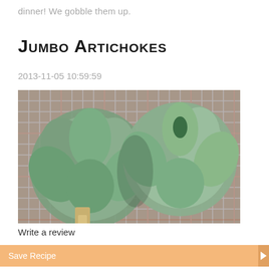dinner! We gobble them up.
Jumbo Artichokes
2013-11-05 10:59:59
[Figure (photo): Two jumbo artichokes resting on a patterned blue/red tablecloth or fabric surface, photographed from above at close range.]
Write a review
Save Recipe